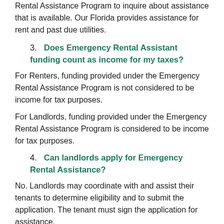Rental Assistance Program to inquire about assistance that is available. Our Florida provides assistance for rent and past due utilities.
3. Does Emergency Rental Assistant funding count as income for my taxes?
For Renters, funding provided under the Emergency Rental Assistance Program is not considered to be income for tax purposes.
For Landlords, funding provided under the Emergency Rental Assistance Program is considered to be income for tax purposes.
4. Can landlords apply for Emergency Rental Assistance?
No. Landlords may coordinate with and assist their tenants to determine eligibility and to submit the application. The tenant must sign the application for assistance.
5. Am I Eligible?
To be Eligible for Emergency Rental Assistance, you or somebody in your household must have been financially impacted by the COVID-19 Pandemic. Your household income